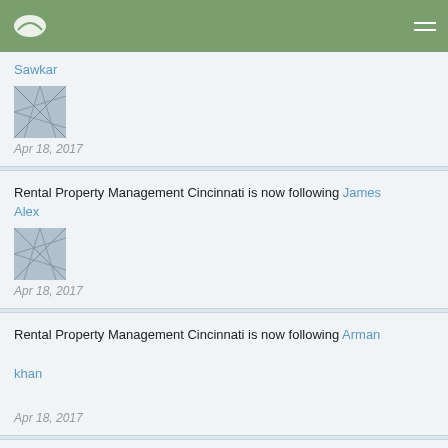Sawkar
Apr 18, 2017
Rental Property Management Cincinnati is now following James Alex
Apr 18, 2017
Rental Property Management Cincinnati is now following Arman khan
Apr 18, 2017
Rental Property Management Cincinnati is now following daniel anderson